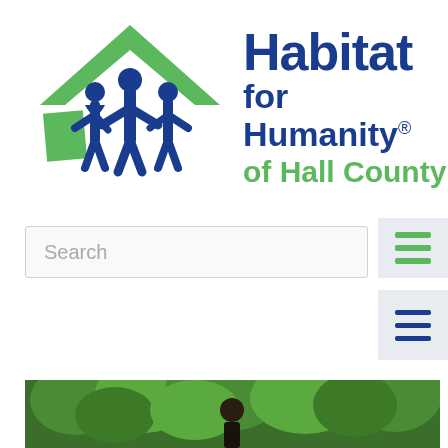[Figure (logo): Habitat for Humanity of Hall County logo with green house icon and blue figure family, with text 'Habitat for Humanity® of Hall County']
[Figure (other): Green hamburger menu icon on light gray background]
[Figure (other): Search bar with placeholder text 'Search']
[Figure (other): Dark blue hamburger menu icon on light gray background]
[Figure (photo): Photo of a person standing outdoors in front of green trees and lush vegetation]